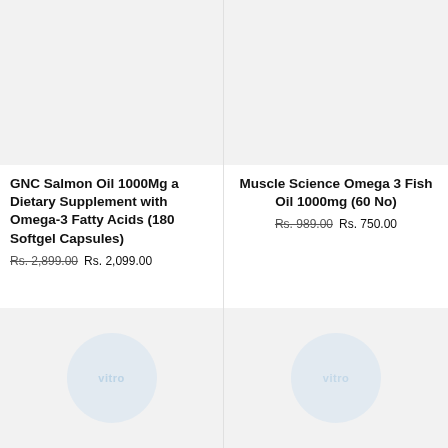[Figure (photo): Product image placeholder for GNC Salmon Oil 1000Mg (top-left)]
GNC Salmon Oil 1000Mg a Dietary Supplement with Omega-3 Fatty Acids (180 Softgel Capsules)
Rs. 2,899.00 Rs. 2,099.00
[Figure (photo): Product image placeholder for Muscle Science Omega 3 Fish Oil 1000mg (top-right)]
Muscle Science Omega 3 Fish Oil 1000mg (60 No)
Rs. 989.00 Rs. 750.00
[Figure (photo): Product image placeholder (bottom-left) with watermark circle]
[Figure (photo): Product image placeholder (bottom-right) with watermark circle]